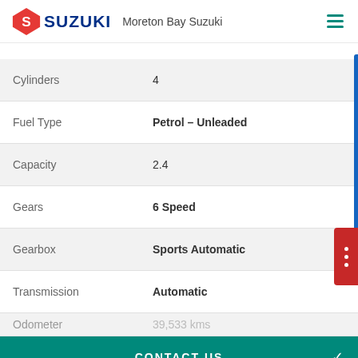Suzuki — Moreton Bay Suzuki
| Attribute | Value |
| --- | --- |
| Cylinders | 4 |
| Fuel Type | Petrol – Unleaded |
| Capacity | 2.4 |
| Gears | 6 Speed |
| Gearbox | Sports Automatic |
| Transmission | Automatic |
| Odometer | 39,533 kms |
| Drive Type | 4WD |
CONTACT US
FINANCE THIS VEHICLE